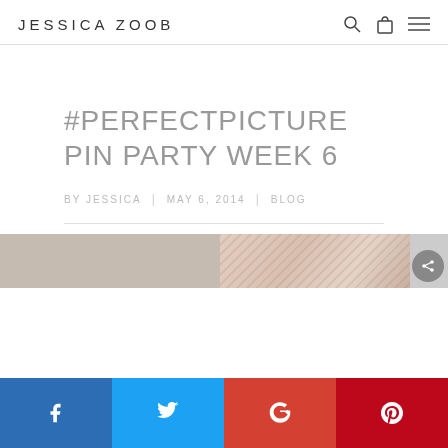JESSICA ZOOB
#PERFECTPICTURE PIN PARTY WEEK 6
BY JESSICA | MAY 6, 2014 | BLOG
[Figure (photo): Two partial images visible at bottom of page: a beige/tan image on the left and a floral patterned image on the right]
Social share bar: Facebook, Twitter, Google+, Pinterest